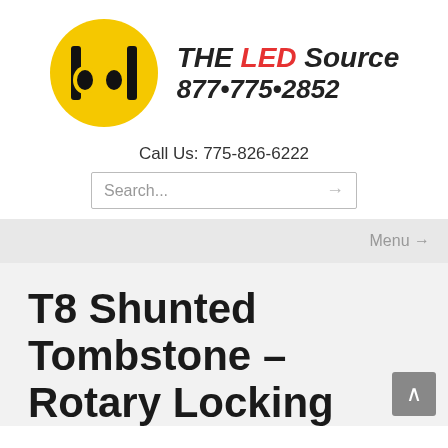[Figure (logo): THE LED Source logo with yellow circle containing 'bd' monogram and brand name with phone number]
Call Us: 775-826-6222
Search...
Menu →
T8 Shunted Tombstone – Rotary Locking